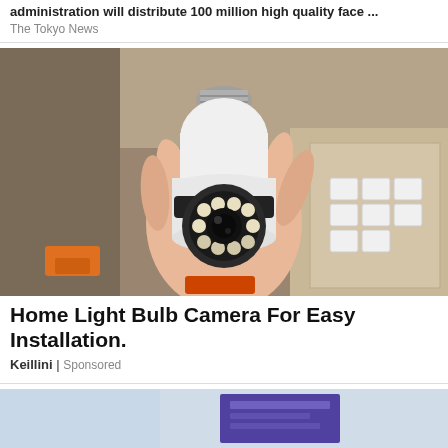administration will distribute 100 million high quality face ...
The Tokyo News
[Figure (photo): A hand holding a white light bulb-shaped security camera with a round lens and LED lights, photographed in a storage area with boxes in the background.]
Home Light Bulb Camera For Easy Installation.
Keillini | Sponsored
[Figure (photo): Bottom partial image, appears to show printed materials or screens.]